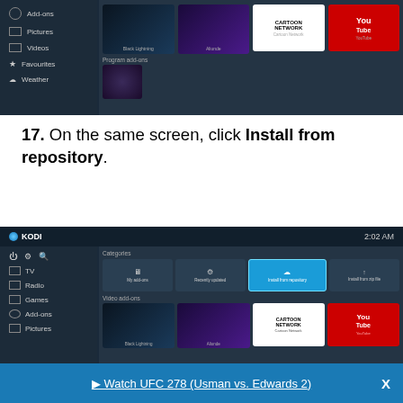[Figure (screenshot): Kodi media center interface showing add-ons screen with Black Lightning, Aliunde, Cartoon Network, YouTube thumbnails and Program add-ons section]
17. On the same screen, click Install from repository.
[Figure (screenshot): Kodi media center interface at 2:02 AM showing Categories with Install from repository highlighted in blue, and Video add-ons row with Black Lightning, Aliunde, Cartoon Network, YouTube]
▶ Watch UFC 278 (Usman vs. Edwards 2)